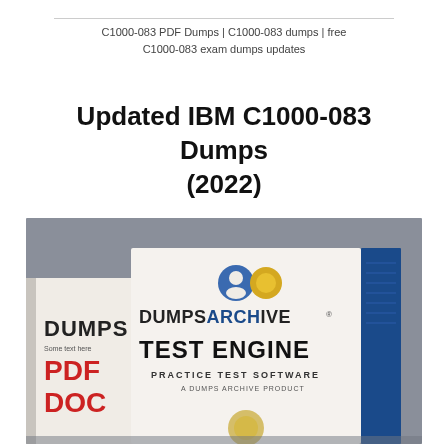C1000-083 PDF Dumps | C1000-083 dumps | free C1000-083 exam dumps updates
Updated IBM C1000-083 Dumps (2022)
[Figure (photo): Photo of two book/guide covers on a gray surface. Left cover shows 'DUMPS PDF DOC' text in black and red. Right cover shows 'DUMPSARCHIVE TEST ENGINE PRACTICE TEST SOFTWARE' with a logo icon at top.]